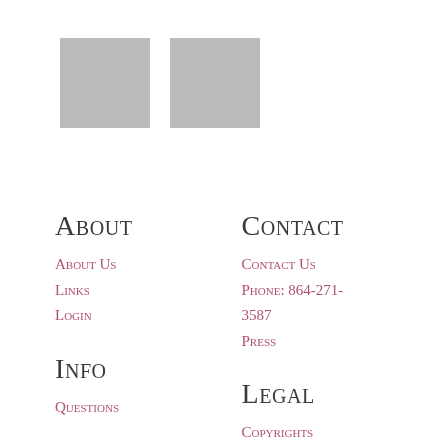[Figure (other): Two gray placeholder image boxes side by side]
About
About Us
Links
Login
Contact
Contact Us
Phone: 864-271-3587
Press
Info
Legal
Questions
Copyrights